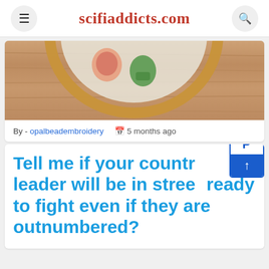scifiaddicts.com
[Figure (photo): Embroidery hoop on wood background with small embroidered figures]
By - opalbeadembroidery  📅 5 months ago
Tell me if your country leader will be in street ready to fight even if they are outnumbered?